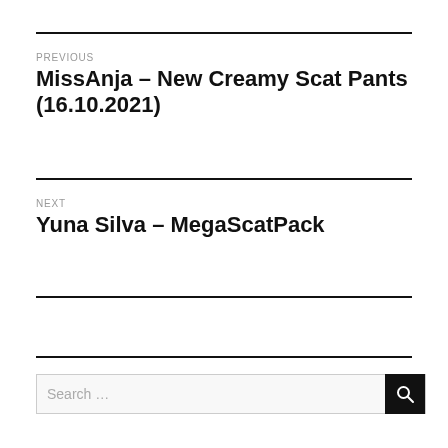PREVIOUS
MissAnja – New Creamy Scat Pants (16.10.2021)
NEXT
Yuna Silva – MegaScatPack